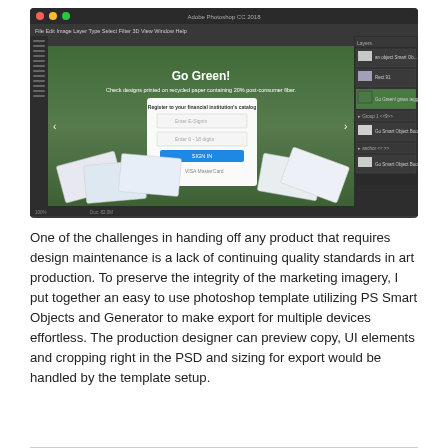[Figure (screenshot): Screenshot of Adobe Photoshop CC interface showing a 'Go Green!' marketing banner design with a grass background, a sign-up form overlay, and scattered check imagery. The Photoshop layers panel is visible on the right side.]
One of the challenges in handing off any product that requires design maintenance is a lack of continuing quality standards in art production. To preserve the integrity of the marketing imagery, I put together an easy to use photoshop template utilizing PS Smart Objects and Generator to make export for multiple devices effortless. The production designer can preview copy, UI elements and cropping right in the PSD and sizing for export would be handled by the template setup.